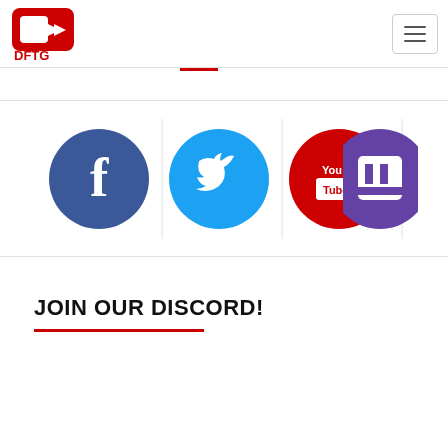[Figure (logo): DFTG logo — red D-shaped icon with forward arrows and red DFTG text below]
[Figure (infographic): Four social media icons in circles: Facebook (blue), Twitter (light blue), YouTube (red), Twitch (purple), separated by vertical dividers]
JOIN OUR DISCORD!